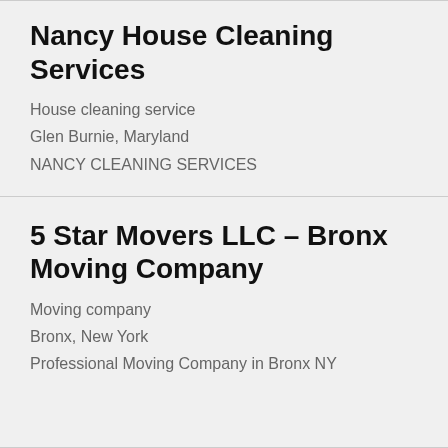Nancy House Cleaning Services
House cleaning service
Glen Burnie, Maryland
NANCY CLEANING SERVICES
5 Star Movers LLC – Bronx Moving Company
Moving company
Bronx, New York
Professional Moving Company in Bronx NY